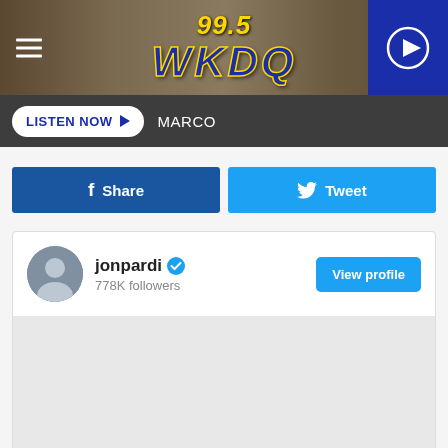[Figure (screenshot): 99.5 WKDQ radio station header banner with hamburger menu, logo, and play button]
LISTEN NOW ▶  MARCO
[Figure (screenshot): Social share buttons: Facebook Share and Twitter Tweet]
[Figure (screenshot): jonpardi Twitter profile card with verified badge, 778K followers, and View profile button]